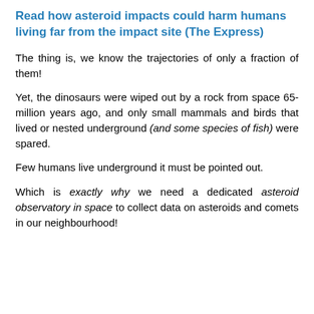Read how asteroid impacts could harm humans living far from the impact site (The Express)
The thing is, we know the trajectories of only a fraction of them!
Yet, the dinosaurs were wiped out by a rock from space 65-million years ago, and only small mammals and birds that lived or nested underground (and some species of fish) were spared.
Few humans live underground it must be pointed out.
Which is exactly why we need a dedicated asteroid observatory in space to collect data on asteroids and comets in our neighbourhood!